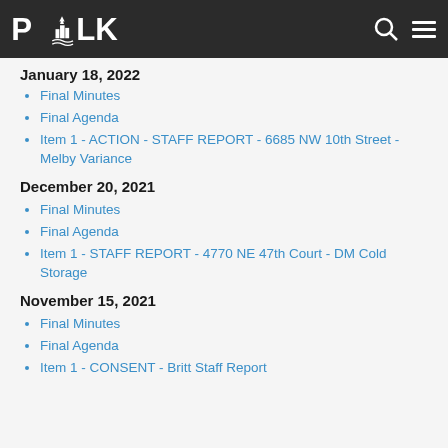Polk County - navigation bar with logo, search, and menu icons
January 18, 2022
Final Minutes
Final Agenda
Item 1 - ACTION - STAFF REPORT - 6685 NW 10th Street - Melby Variance
December 20, 2021
Final Minutes
Final Agenda
Item 1 - STAFF REPORT - 4770 NE 47th Court - DM Cold Storage
November 15, 2021
Final Minutes
Final Agenda
Item 1 - CONSENT - Britt Staff Report